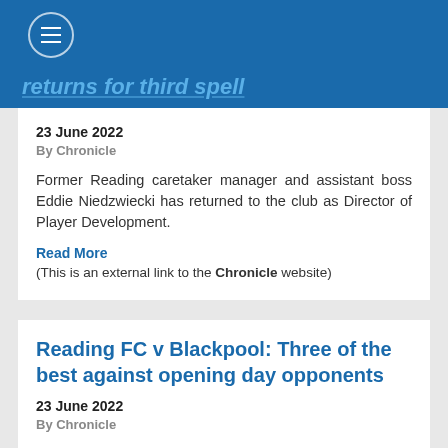returns for third spell
23 June 2022
By Chronicle
Former Reading caretaker manager and assistant boss Eddie Niedzwiecki has returned to the club as Director of Player Development.
Read More
(This is an external link to the Chronicle website)
Reading FC v Blackpool: Three of the best against opening day opponents
23 June 2022
By Chronicle